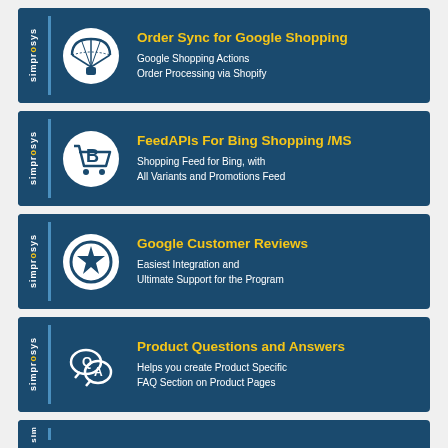[Figure (infographic): Simprosys card: Order Sync for Google Shopping - Google Shopping Actions, Order Processing via Shopify]
[Figure (infographic): Simprosys card: FeedAPIs For Bing Shopping /MS - Shopping Feed for Bing, with All Variants and Promotions Feed]
[Figure (infographic): Simprosys card: Google Customer Reviews - Easiest Integration and Ultimate Support for the Program]
[Figure (infographic): Simprosys card: Product Questions and Answers - Helps you create Product Specific FAQ Section on Product Pages]
[Figure (infographic): Simprosys partial card at bottom (cut off)]